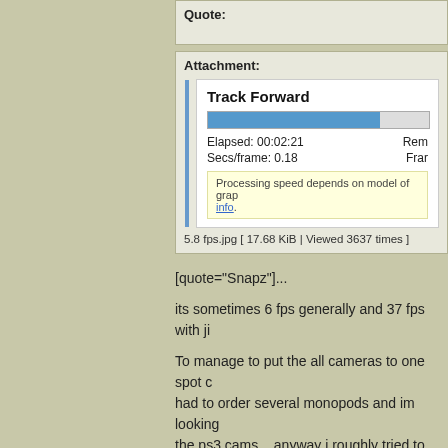Quote:
[Figure (screenshot): Attachment box containing a screenshot of a 'Track Forward' progress dialog with a blue progress bar, showing Elapsed: 00:02:21, Secs/frame: 0.18, and a note about processing speed depending on model of graphics card. File: 5.8 fps.jpg [ 17.68 KiB | Viewed 3637 times ]]
[quote="Snapz"]...
its sometimes 6 fps generally and 37 fps with ji
To manage to put the all cameras to one spot c had to order several monopods and im looking the ps3 cams ...anyway i roughly tried to aim th putted a black hat on my head and im wearing studio" :-)